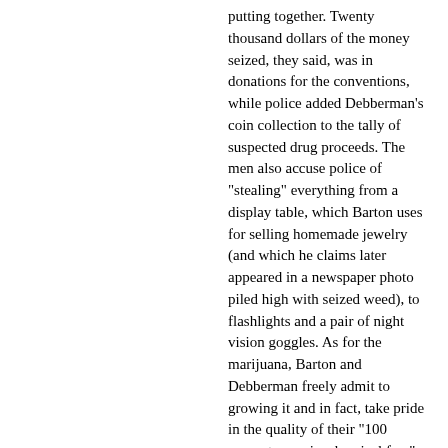putting together. Twenty thousand dollars of the money seized, they said, was in donations for the conventions, while police added Debberman's coin collection to the tally of suspected drug proceeds. The men also accuse police of "stealing" everything from a display table, which Barton uses for selling homemade jewelry (and which he claims later appeared in a newspaper photo piled high with seized weed), to flashlights and a pair of night vision goggles. As for the marijuana, Barton and Debberman freely admit to growing it and in fact, take pride in the quality of their "100 percent organic, chemical free" product.
"It wasn't schwag," said Debberman, who works at the High Falls Food co-op. "It was high quality, medical grade marijuana."
The men declined to discuss the purpose of the marijuana growing operation except to say that police had found no evidence that they were selling the herb. Barton said that the 45 pounds of marijuana cited by police included wet dirt clinging to the plants when they were yanked